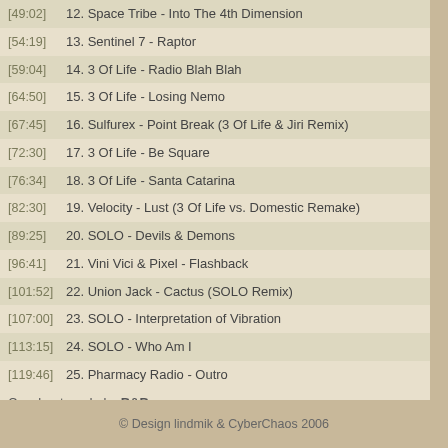[49:02] 12. Space Tribe - Into The 4th Dimension
[54:19] 13. Sentinel 7 - Raptor
[59:04] 14. 3 Of Life - Radio Blah Blah
[64:50] 15. 3 Of Life - Losing Nemo
[67:45] 16. Sulfurex - Point Break (3 Of Life & Jiri Remix)
[72:30] 17. 3 Of Life - Be Square
[76:34] 18. 3 Of Life - Santa Catarina
[82:30] 19. Velocity - Lust (3 Of Life vs. Domestic Remake)
[89:25] 20. SOLO - Devils & Demons
[96:41] 21. Vini Vici & Pixel - Flashback
[101:52] 22. Union Jack - Cactus (SOLO Remix)
[107:00] 23. SOLO - Interpretation of Vibration
[113:15] 24. SOLO - Who Am I
[119:46] 25. Pharmacy Radio - Outro
Cuesheet made by B&B
Tracklist formatting - Extended timestamps [xx:xx:xx], Hide timestamps [xx:xx], Hide length (xx:xx), Separate performer/title
© Design lindmik & CyberChaos 2006